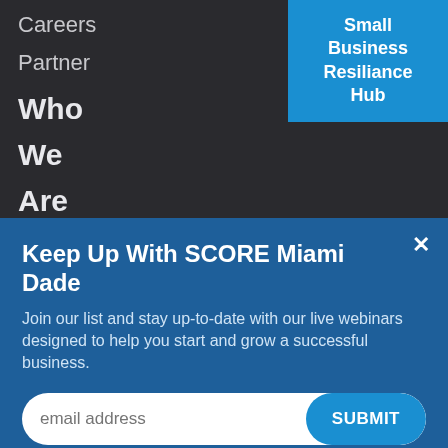Careers
Partner
[Figure (other): Small Business Resiliance Hub button in blue]
Who
We
Are
Keep Up With SCORE Miami Dade
Join our list and stay up-to-date with our live webinars designed to help you start and grow a successful business.
email address  SUBMIT
Annual
Report
Media
Resources